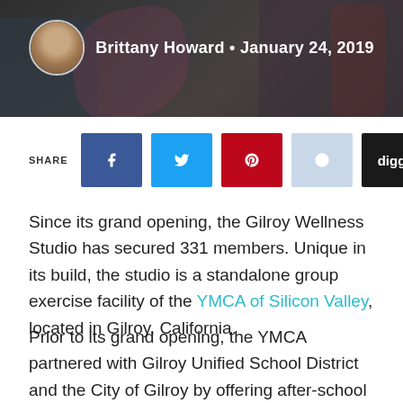[Figure (photo): Header image with dark background showing people exercising, overlaid with author avatar and byline text: Brittany Howard • January 24, 2019]
[Figure (infographic): Share buttons row: SHARE label followed by Facebook (blue), Twitter (light blue), Pinterest (red), Reddit (light blue-grey), Digg (dark/black) square icon buttons]
Since its grand opening, the Gilroy Wellness Studio has secured 331 members. Unique in its build, the studio is a standalone group exercise facility of the YMCA of Silicon Valley, located in Gilroy, California.
Prior to its grand opening, the YMCA partnered with Gilroy Unified School District and the City of Gilroy by offering after-school care for children and nutrition services for seniors. By opening the studio, the Y